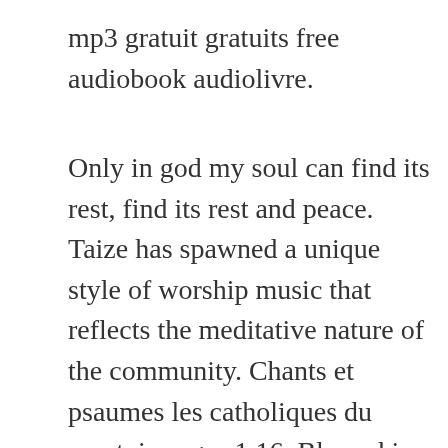mp3 gratuit gratuits free audiobook audiolivre.
Only in god my soul can find its rest, find its rest and peace. Taize has spawned a unique style of worship music that reflects the meditative nature of the community. Chants et psaumes les catholiques du mantois pages 1 16. Blessed is our god, always, now and ever, and unto ages of ages. Antiennes et psaumes, annee c telecharger, lire pdf. Mt 26, 41 in this darkness, the fire you light never extinguishes, it never extinguished